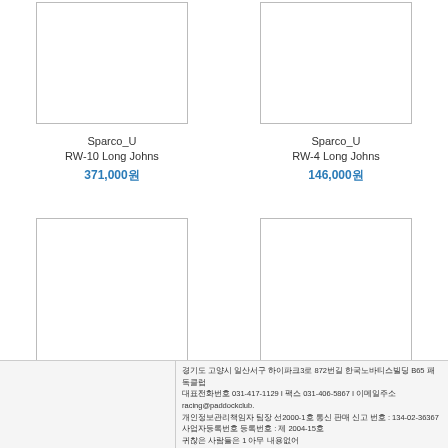[Figure (photo): Product image placeholder box for Sparco_U RW-10 Long Johns]
Sparco_U
RW-10 Long Johns
371,000원
[Figure (photo): Product image placeholder box for Sparco_U RW-4 Long Johns]
Sparco_U
RW-4 Long Johns
146,000원
[Figure (photo): Product image placeholder box for Sparco_U RW-10 Long Sleeve Top]
Sparco_U
RW-10 Long Sleeve Top
394,000원
[Figure (photo): Product image placeholder box for Sparco_U Shield Tech Long Sleeve Top]
Sparco_U
Shield Tech Long Sleeve Top
253,000원
경기도 고양시 일산서구 하이파크3로 872번길 한국노바티스빌딩 B65 패독클럽
대표전화번호 031-417-1129 I 팩스 031-406-5867 I 이메일주소 racing@paddockclub.
개인정보관리책임자 팀장 선2000-1호 통신 판매 신고 번호 : 134-02-36367
사업자등록번호 등록번호 : 제 2004-15호
귀찮은 사람들은 1 아무 내용없어
Copyright All Rights Reserved.